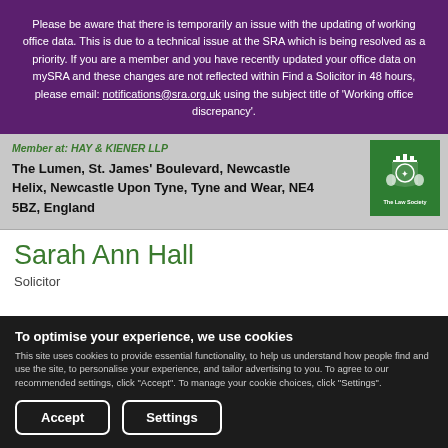Please be aware that there is temporarily an issue with the updating of working office data. This is due to a technical issue at the SRA which is being resolved as a priority. If you are a member and you have recently updated your office data on mySRA and these changes are not reflected within Find a Solicitor in 48 hours, please email: notifications@sra.org.uk using the subject title of 'Working office discrepancy'.
Member at: HAY & KIENER LLP
The Lumen, St. James' Boulevard, Newcastle Helix, Newcastle Upon Tyne, Tyne and Wear, NE4 5BZ, England
[Figure (logo): The Law Society green badge/logo]
Sarah Ann Hall
Solicitor
To optimise your experience, we use cookies
This site uses cookies to provide essential functionality, to help us understand how people find and use the site, to personalise your experience, and tailor advertising to you. To agree to our recommended settings, click "Accept". To manage your cookie choices, click "Settings".